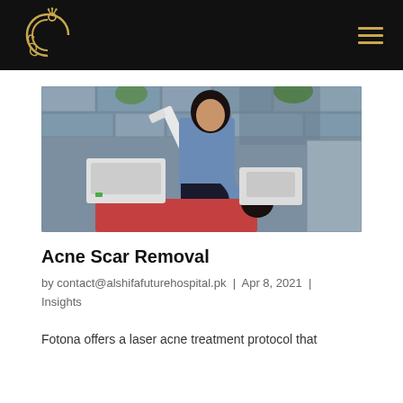Al-Shifa Future Hospital logo and navigation
[Figure (photo): A doctor in a blue shirt operating a laser/medical device on a patient lying face down in a clinic room with decorative stone-pattern wall and medical equipment visible.]
Acne Scar Removal
by contact@alshifafuturehospital.pk | Apr 8, 2021 | Insights
Fotona offers a laser acne treatment protocol that